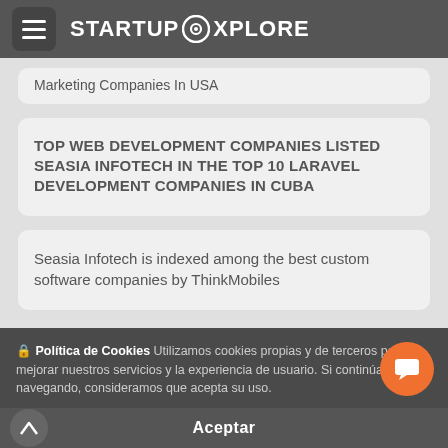STARTUPOXPLORE
Marketing Companies In USA
TOP WEB DEVELOPMENT COMPANIES LISTED SEASIA INFOTECH IN THE TOP 10 LARAVEL DEVELOPMENT COMPANIES IN CUBA
Seasia Infotech is indexed among the best custom software companies by ThinkMobiles
🔒 Política de Cookies Utilizamos cookies propias y de terceros para mejorar nuestros servicios y la experiencia de usuario. Si continúa navegando, consideramos que acepta su uso.
Aceptar
Is Node.Js App Development the right choice for Your